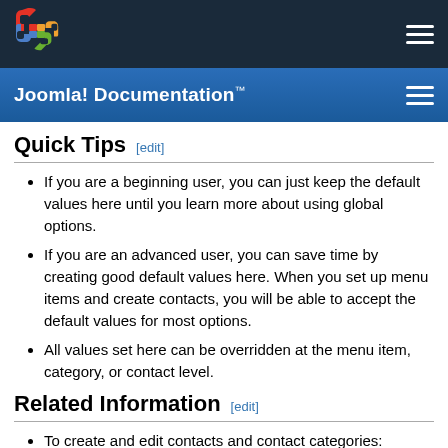[Figure (logo): Joomla! logo (colorful flame/asterisk icon) in top navigation bar]
Joomla! Documentation™
Quick Tips [edit]
If you are a beginning user, you can just keep the default values here until you learn more about using global options.
If you are an advanced user, you can save time by creating good default values here. When you set up menu items and create contacts, you will be able to accept the default values for most options.
All values set here can be overridden at the menu item, category, or contact level.
Related Information [edit]
To create and edit contacts and contact categories: